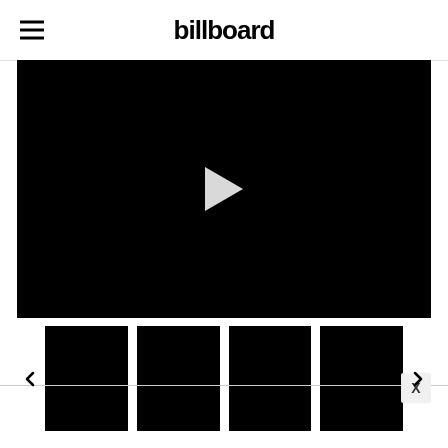billboard
[Figure (screenshot): Black video player with a white play button triangle in the center]
[Figure (screenshot): Row of four black video thumbnail images with left and right navigation arrows on each side]